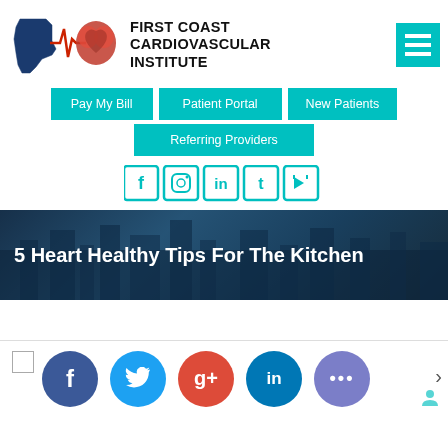[Figure (logo): First Coast Cardiovascular Institute logo with Florida state silhouette, heart anatomy, and ECG line]
FIRST COAST CARDIOVASCULAR INSTITUTE
[Figure (infographic): Teal hamburger menu icon (three horizontal bars)]
Pay My Bill
Patient Portal
New Patients
Referring Providers
[Figure (infographic): Social media icons row: Facebook, Instagram, LinkedIn, Twitter, YouTube - teal outlined squares]
5 Heart Healthy Tips For The Kitchen
[Figure (infographic): Social share bar with Facebook (blue), Twitter (light blue), Google+ (red), LinkedIn (blue), More (purple) circular buttons]